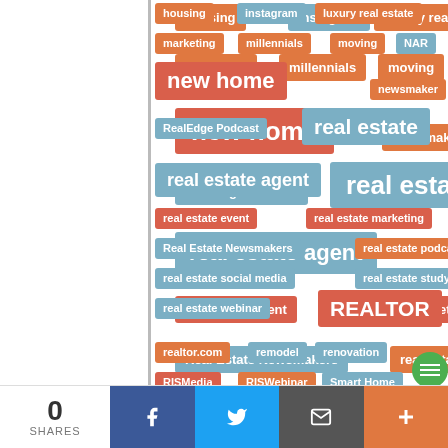[Figure (infographic): Tag cloud of real estate related keywords displayed as colored pill/badge tags in orange, blue, and red/salmon colors. Tags include: housing, instagram, luxury real estate, marketing, millennials, moving, NAR, new home, newsmaker, RealEdge Podcast, real estate, real estate agent, real estate event, real estate marketing, Real Estate Newsmakers, real estate podcast, real estate social media, real estate study, real estate webinar, REALTOR, realtor.com, remodel, renovation, RISMedia, RISWebinar, Smart Home]
[Figure (infographic): Bottom social share bar showing 0 SHARES count, Facebook button (blue), Twitter button (light blue), email/envelope button (dark gray), and plus button (orange). Also a partial green circle icon in bottom right of tag cloud area.]